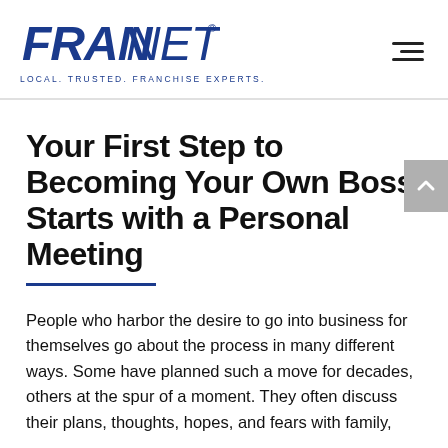[Figure (logo): FranNet logo with tagline LOCAL. TRUSTED. FRANCHISE EXPERTS.]
Your First Step to Becoming Your Own Boss Starts with a Personal Meeting
People who harbor the desire to go into business for themselves go about the process in many different ways. Some have planned such a move for decades, others at the spur of a moment. They often discuss their plans, thoughts, hopes, and fears with family,